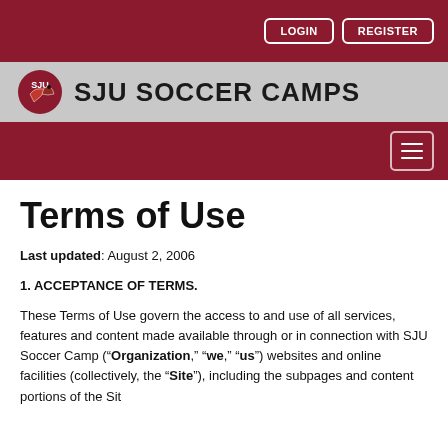LOGIN   REGISTER
[Figure (logo): SJU Soccer Camps logo with hawk mascot and bold text]
Terms of Use
Last updated: August 2, 2006
1. ACCEPTANCE OF TERMS.
These Terms of Use govern the access to and use of all services, features and content made available through or in connection with SJU Soccer Camp (“Organization,” “we,” “us”) websites and online facilities (collectively, the “Site”), including the subpages and content portions of the Sit...